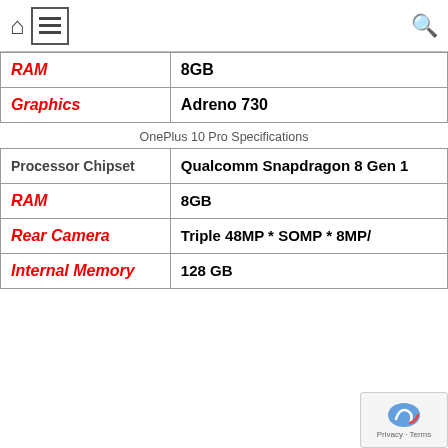Home / Menu / Search
| RAM | 8GB |
| --- | --- |
| Graphics | Adreno 730 |
OnePlus 10 Pro Specifications
| Processor Chipset | Qualcomm Snapdragon 8 Gen 1 |
| --- | --- |
| RAM | 8GB |
| Rear Camera | Triple 48MP * SOMP * 8MP/ |
| Internal Memory | 128 GB |